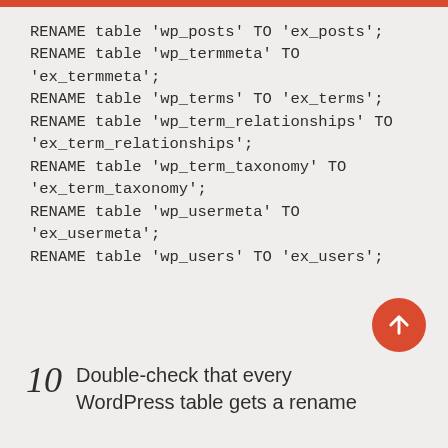RENAME table 'wp_posts' TO 'ex_posts';
RENAME table 'wp_termmeta' TO 'ex_termmeta';
RENAME table 'wp_terms' TO 'ex_terms';
RENAME table 'wp_term_relationships' TO 'ex_term_relationships';
RENAME table 'wp_term_taxonomy' TO 'ex_term_taxonomy';
RENAME table 'wp_usermeta' TO 'ex_usermeta';
RENAME table 'wp_users' TO 'ex_users';
10 Double-check that every WordPress table gets a rename